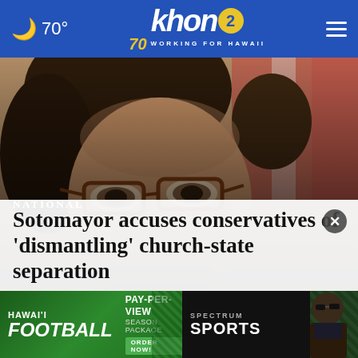70° khon2 — WORKING FOR HAWAII
[Figure (photo): Close-up photo of a woman with curly dark hair and tortoiseshell glasses, looking upward, with a blurred American flag in the background. This is Justice Sonia Sotomayor.]
NATIONAL
Sotomayor accuses conservatives of 'dismantling' church-state separation
[Figure (infographic): Advertisement banner for Hawai'i Football Pay-Per-View Season Package on Spectrum Sports. Features green textured background, 'HAWAI'I FOOTBALL' text, 'PAY-PER-VIEW SEASON PACKAGE ORDER NOW!' text, and Spectrum Sports logo with coach photo.]